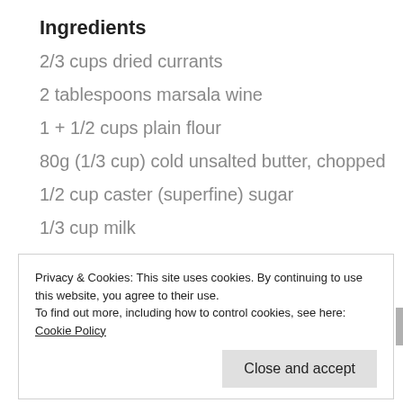Ingredients
2/3 cups dried currants
2 tablespoons marsala wine
1 + 1/2 cups plain flour
80g (1/3 cup) cold unsalted butter, chopped
1/2 cup caster (superfine) sugar
1/3 cup milk
1 teaspoon cinnamon
1 egg, lightly beaten
Privacy & Cookies: This site uses cookies. By continuing to use this website, you agree to their use.
To find out more, including how to control cookies, see here: Cookie Policy
Close and accept